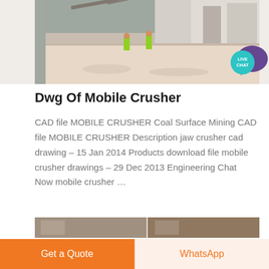[Figure (photo): Industrial mobile crusher facility with workers in high-visibility vests on a large concrete floor, industrial equipment and structures visible in background. Live Chat badge overlay in bottom-right corner of image.]
Dwg Of Mobile Crusher
CAD file MOBILE CRUSHER Coal Surface Mining CAD file MOBILE CRUSHER Description jaw crusher cad drawing – 15 Jan 2014 Products download file mobile crusher drawings – 29 Dec 2013 Engineering Chat Now mobile crusher …
[Figure (photo): Partial thumbnail images of additional crusher-related content at bottom of page]
Get a Quote
WhatsApp